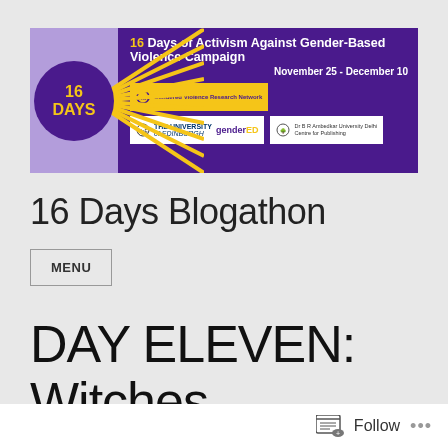[Figure (illustration): 16 Days of Activism Against Gender-Based Violence Campaign banner with purple background, showing '16 DAYS' text in yellow circle, sunburst graphic, UNSW Gendered Violence Research Network logo, University of Edinburgh and genderED logos, and Dr B R Ambedkar University Delhi Centre for Publishing logo. Dates: November 25 - December 10.]
16 Days Blogathon
MENU
DAY ELEVEN: Witches of Scotland : A